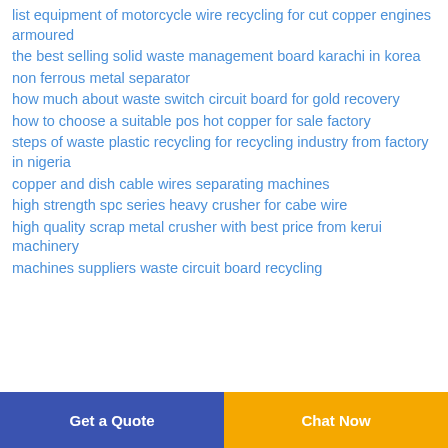list equipment of motorcycle wire recycling for cut copper engines armoured
the best selling solid waste management board karachi in korea
non ferrous metal separator
how much about waste switch circuit board for gold recovery
how to choose a suitable pos hot copper for sale factory
steps of waste plastic recycling for recycling industry from factory in nigeria
copper and dish cable wires separating machines
high strength spc series heavy crusher for cabe wire
high quality scrap metal crusher with best price from kerui machinery
machines suppliers waste circuit board recycling
Get a Quote | Chat Now